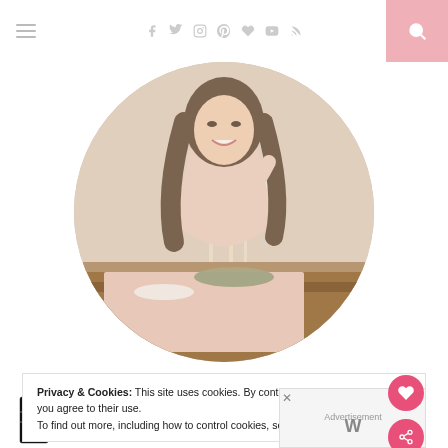Navigation header with hamburger menu, social icons (f, twitter, instagram, pinterest, heart, youtube, rss), and pink search button
[Figure (photo): Circular profile photo of a smiling brunette woman in a blush pink dress holding a glass of white wine, seated at a decorated dining table with candles and greenery]
Privacy & Cookies: This site uses cookies. By continuing to use this website, you agree to their use.
To find out more, including how to control cookies, see here: Privacy Policy
[Figure (logo): Decorative LOVE logo text in black illustrated style with a small red heart detail]